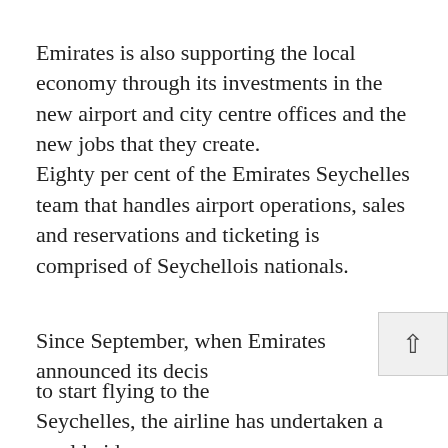Emirates is also supporting the local economy through its investments in the new airport and city centre offices and the new jobs that they create. Eighty per cent of the Emirates Seychelles team that handles airport operations, sales and reservations and ticketing is comprised of Seychellois nationals.
Since September, when Emirates announced its decision to start flying to the Seychelles, the airline has undertaken a worldwide promotion and publicity...